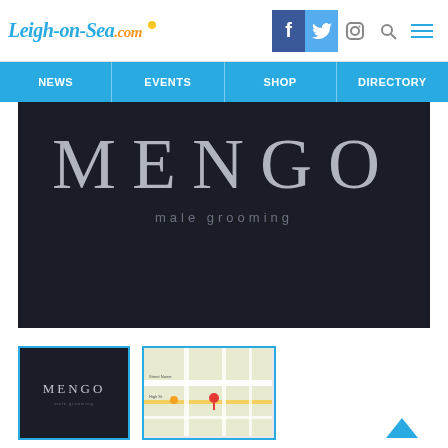Leigh-on-Sea.com — NEWS | EVENTS | SHOP | DIRECTORY
[Figure (screenshot): MENGO male grooming logo on dark background hero image]
[Figure (photo): Thumbnail of MENGO logo on dark background]
[Figure (map): Thumbnail of Google Maps showing location of MENGO]